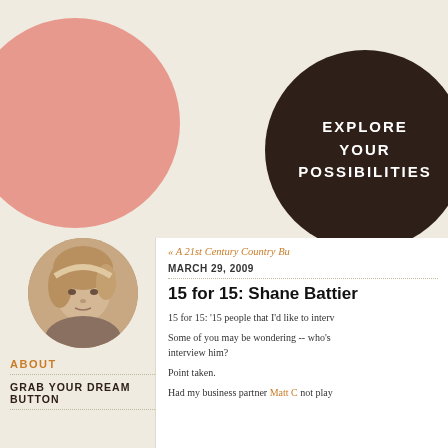[Figure (illustration): Large pink circle on cream background, top left area]
[Figure (illustration): Dark brown circle with white bold text reading EXPLORE YOUR POSSIBILITIES]
[Figure (photo): Circular cropped black and white photo of a woman with blonde hair]
ABOUT
GRAB YOUR DREAM BUTTON
« A 21st Century Country Bu
MARCH 29, 2009
15 for 15: Shane Battier
15 for 15:  '15 people that I'd like to interv
Some of you may be wondering -- who's interview him?
Point taken.
Had my business partner Matt C not play